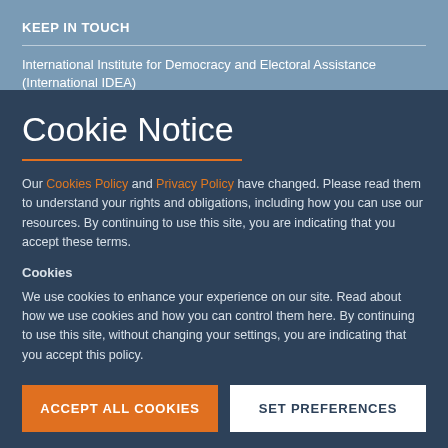KEEP IN TOUCH
International Institute for Democracy and Electoral Assistance (International IDEA)
Cookie Notice
Our Cookies Policy and Privacy Policy have changed. Please read them to understand your rights and obligations, including how you can use our resources. By continuing to use this site, you are indicating that you accept these terms.
Cookies
We use cookies to enhance your experience on our site. Read about how we use cookies and how you can control them here. By continuing to use this site, without changing your settings, you are indicating that you accept this policy.
ACCEPT ALL COOKIES
SET PREFERENCES